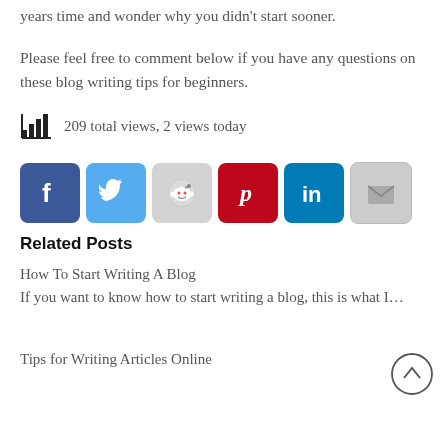years time and wonder why you didn't start sooner.
Please feel free to comment below if you have any questions on these blog writing tips for beginners.
209 total views,  2 views today
[Figure (infographic): Row of social sharing icons: Facebook, Twitter, Reddit, Pinterest, LinkedIn, Email]
Related Posts
How To Start Writing A Blog
If you want to know how to start writing a blog, this is what I…
Tips for Writing Articles Online